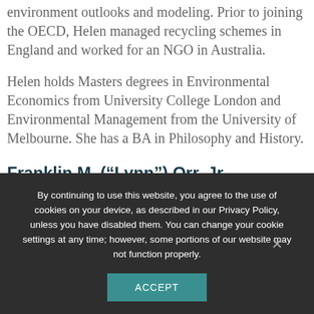environment outlooks and modeling. Prior to joining the OECD, Helen managed recycling schemes in England and worked for an NGO in Australia.
Helen holds Masters degrees in Environmental Economics from University College London and Environmental Management from the University of Melbourne. She has a BA in Philosophy and History.
Franklin M. (“Lynn”) Orr, Jr.
June 22, 2017 10:54 am Comments Off
By continuing to use this website, you agree to the use of cookies on your device, as described in our Privacy Policy, unless you have disabled them. You can change your cookie settings at any time; however, some portions of our website may not function properly.
ACCEPT